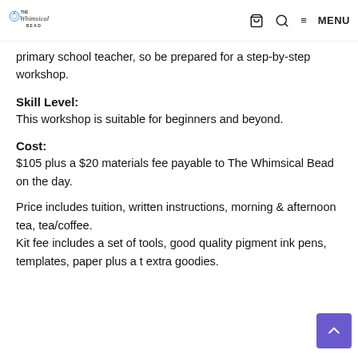THE Whimsical BEAD — navigation bar with cart, search, and MENU
primary school teacher, so be prepared for a step-by-step workshop.
Skill Level:
This workshop is suitable for beginners and beyond.
Cost:
$105 plus a $20 materials fee payable to The Whimsical Bead on the day.
Price includes tuition, written instructions, morning & afternoon tea, tea/coffee.
Kit fee includes a set of tools, good quality pigment ink pens, templates, paper plus a t extra goodies.